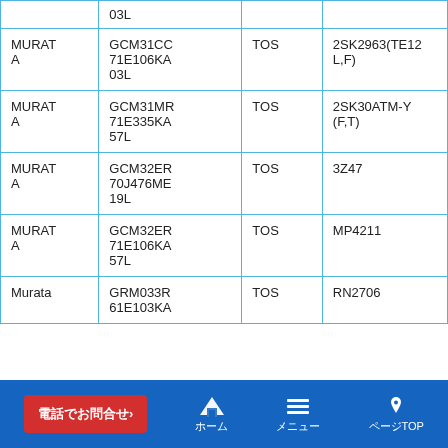|  | 03L |  |  |
| MURATA | GCM31CC71E106KA03L | TOS | 2SK2963(TE12L,F) |
| MURATA | GCM31MR71E335KA57L | TOS | 2SK30ATM-Y(F,T) |
| MURATA | GCM32ER70J476ME19L | TOS | 3Z47 |
| MURATA | GCM32ER71E106KA57L | TOS | MP4211 |
| Murata | GRM033R61E103KA | TOS | RN2706 |
電話でお問合せ› | ホーム | メニュー | ページTOP